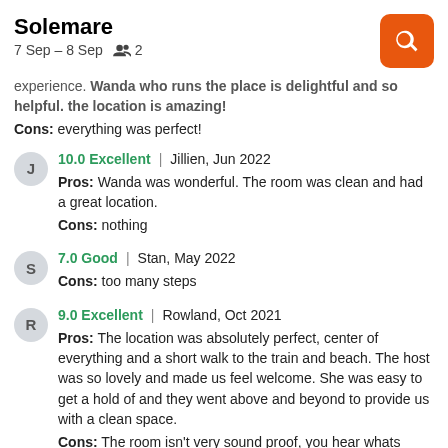Solemare
7 Sep – 8 Sep   2
experience. Wanda who runs the place is delightful and so helpful. the location is amazing!
Cons: everything was perfect!
10.0 Excellent | Jillien, Jun 2022
Pros: Wanda was wonderful. The room was clean and had a great location.
Cons: nothing
7.0 Good | Stan, May 2022
Cons: too many steps
9.0 Excellent | Rowland, Oct 2021
Pros: The location was absolutely perfect, center of everything and a short walk to the train and beach. The host was so lovely and made us feel welcome. She was easy to get a hold of and they went above and beyond to provide us with a clean space.
Cons: The room isn't very sound proof, you hear whats going on outside throughout the night. But with enough wine you